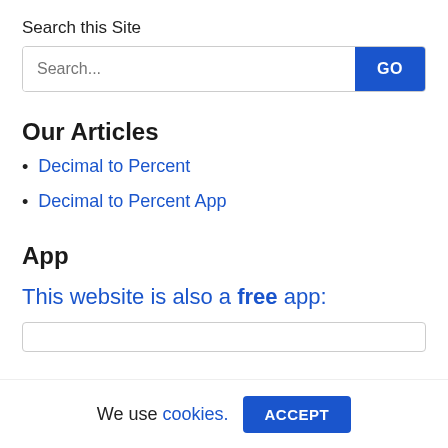Search this Site
Search... [GO button]
Our Articles
Decimal to Percent
Decimal to Percent App
App
This website is also a free app:
We use cookies. ACCEPT